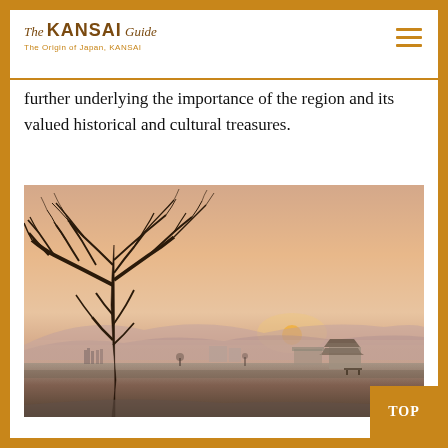The KANSAI Guide — The Origin of Japan, KANSAI
further underlying the importance of the region and its valued historical and cultural treasures.
[Figure (photo): Landscape photo of a misty dawn scene with a bare leafless tree silhouetted on the left, a traditional Japanese pagoda-style building on the right, distant mountains, and a low sun setting the sky in warm pink and orange tones.]
TOP